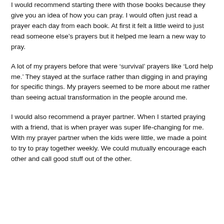I would recommend starting there with those books because they give you an idea of how you can pray. I would often just read a prayer each day from each book. At first it felt a little weird to just read someone else’s prayers but it helped me learn a new way to pray.
A lot of my prayers before that were ‘survival’ prayers like ‘Lord help me.’ They stayed at the surface rather than digging in and praying for specific things. My prayers seemed to be more about me rather than seeing actual transformation in the people around me.
I would also recommend a prayer partner. When I started praying with a friend, that is when prayer was super life-changing for me. With my prayer partner when the kids were little, we made a point to try to pray together weekly. We could mutually encourage each other and call good stuff out of the other.